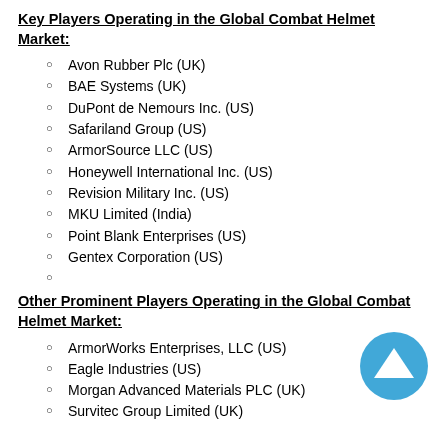Key Players Operating in the Global Combat Helmet Market:
Avon Rubber Plc (UK)
BAE Systems (UK)
DuPont de Nemours Inc. (US)
Safariland Group (US)
ArmorSource LLC (US)
Honeywell International Inc. (US)
Revision Military Inc. (US)
MKU Limited (India)
Point Blank Enterprises (US)
Gentex Corporation (US)
Other Prominent Players Operating in the Global Combat Helmet Market:
ArmorWorks Enterprises, LLC (US)
Eagle Industries (US)
Morgan Advanced Materials PLC (UK)
Survitec Group Limited (UK)